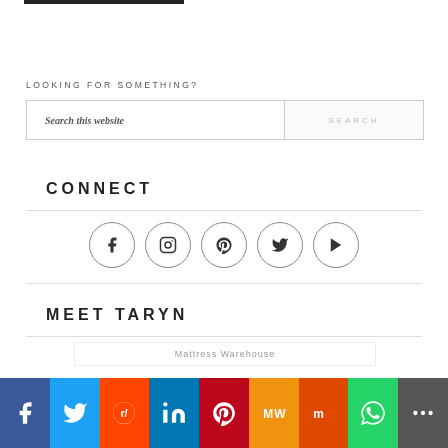[Figure (other): Partial black bar remnant at top of page]
LOOKING FOR SOMETHING?
Search this website
CONNECT
[Figure (other): Social media icon circles: Facebook, Instagram, Pinterest, Twitter, YouTube]
MEET TARYN
Mattress Warehouse
[Figure (other): Social sharing bar at bottom with Facebook, Twitter, Reddit, LinkedIn, Pinterest, MW, Mix, WhatsApp, More buttons]